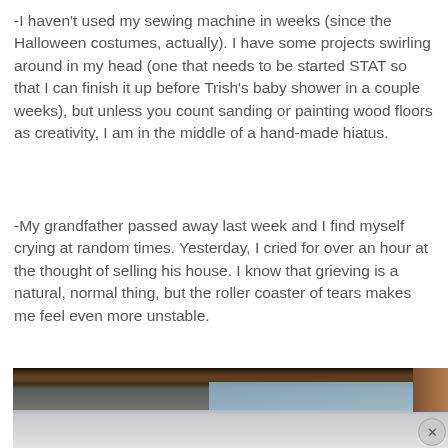-I haven't used my sewing machine in weeks (since the Halloween costumes, actually). I have some projects swirling around in my head (one that needs to be started STAT so that I can finish it up before Trish's baby shower in a couple weeks), but unless you count sanding or painting wood floors as creativity, I am in the middle of a hand-made hiatus.
-My grandfather passed away last week and I find myself crying at random times. Yesterday, I cried for over an hour at the thought of selling his house. I know that grieving is a natural, normal thing, but the roller coaster of tears makes me feel even more unstable.
[Figure (photo): A partial photo showing wooden blinds or shutters with a blue-grey wall or sky visible, and a light grey/white surface at the bottom. A close (x) button appears in the lower right corner.]